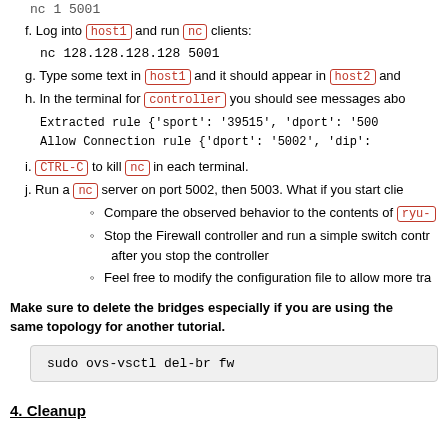nc 1 5001
f. Log into host1 and run nc clients:
nc 128.128.128.128 5001
g. Type some text in host1 and it should appear in host2 and
h. In the terminal for controller you should see messages abo
Extracted rule {'sport': '39515', 'dport': '500
Allow Connection rule {'dport': '5002', 'dip':
i. CTRL-C to kill nc in each terminal.
j. Run a nc server on port 5002, then 5003. What if you start clie
Compare the observed behavior to the contents of ryu-
Stop the Firewall controller and run a simple switch contr after you stop the controller
Feel free to modify the configuration file to allow more tra
Make sure to delete the bridges especially if you are using the same topology for another tutorial.
sudo ovs-vsctl del-br fw
4. Cleanup